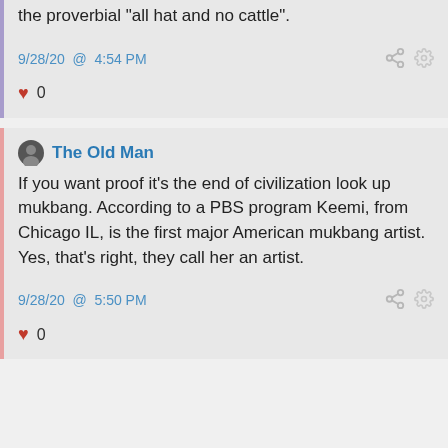the proverbial “all hat and no cattle”.
9/28/20 @ 4:54 PM
0
The Old Man
If you want proof it's the end of civilization look up mukbang. According to a PBS program Keemi, from Chicago IL, is the first major American mukbang artist. Yes, that's right, they call her an artist.
9/28/20 @ 5:50 PM
0